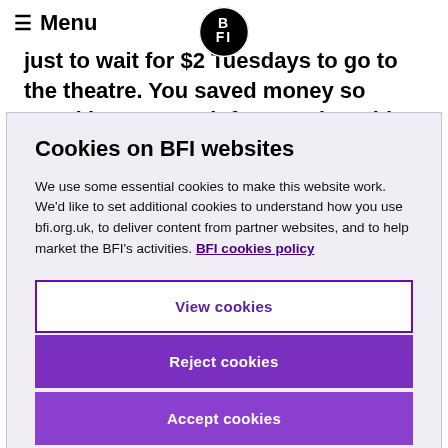Menu | BFI logo
just to wait for $2 Tuesdays to go to the theatre. You saved money so you'd have enough for your bus ride and your snacks. You're gonna sneak some
Cookies on BFI websites
We use some essential cookies to make this website work. We'd like to set additional cookies to understand how you use bfi.org.uk, to deliver content from partner websites, and to help market the BFI's activities. BFI cookies policy
View cookies
Reject cookies
Accept cookies